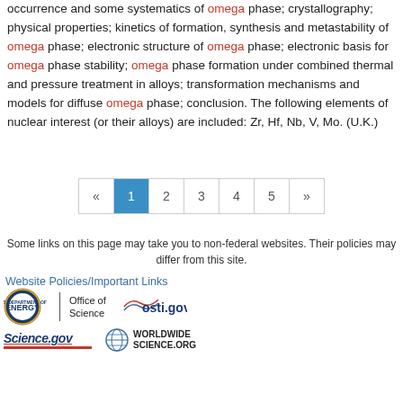occurrence and some systematics of omega phase; crystallography; physical properties; kinetics of formation, synthesis and metastability of omega phase; electronic structure of omega phase; electronic basis for omega phase stability; omega phase formation under combined thermal and pressure treatment in alloys; transformation mechanisms and models for diffuse omega phase; conclusion. The following elements of nuclear interest (or their alloys) are included: Zr, Hf, Nb, V, Mo. (U.K.)
Pagination: « 1 2 3 4 5 »
Some links on this page may take you to non-federal websites. Their policies may differ from this site.
Website Policies/Important Links
[Figure (logo): U.S. Department of Energy / Office of Science logo, osti.gov logo, Science.gov logo, WorldWideScience.org logo]